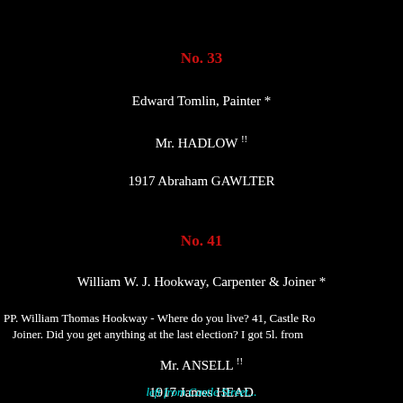No. 33
Edward Tomlin, Painter *
Mr. HADLOW !!
1917 Abraham GAWLTER
No. 41
William W. J. Hookway, Carpenter & Joiner *
PP. William Thomas Hookway - Where do you live? 41, Castle Ro... Joiner. Did you get anything at the last election? I got 5l. from...
Mr. ANSELL !!
1917 James HEAD
left from Castle Street...